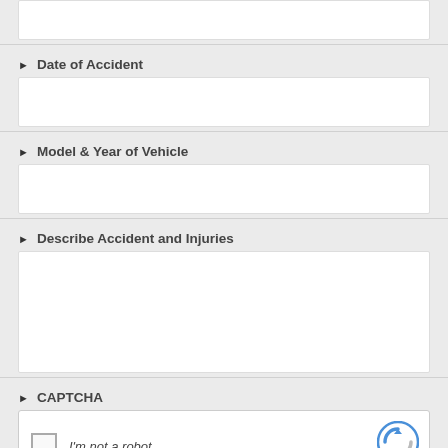[Figure (other): Top input text box (partial, cropped at top)]
Date of Accident
[Figure (other): Input text box for Date of Accident]
Model & Year of Vehicle
[Figure (other): Input text box for Model & Year of Vehicle]
Describe Accident and Injuries
[Figure (other): Large textarea for Describe Accident and Injuries]
CAPTCHA
[Figure (other): reCAPTCHA widget with checkbox and I'm not a robot text]